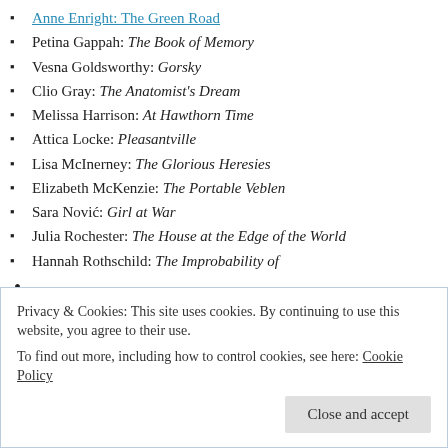Anne Enright: The Green Road
Petina Gappah: The Book of Memory
Vesna Goldsworthy: Gorsky
Clio Gray: The Anatomist's Dream
Melissa Harrison: At Hawthorn Time
Attica Locke: Pleasantville
Lisa McInerney: The Glorious Heresies
Elizabeth McKenzie: The Portable Veblen
Sara Nović: Girl at War
Julia Rochester: The House at the Edge of the World
Hannah Rothschild: The Improbability of
Privacy & Cookies: This site uses cookies. By continuing to use this website, you agree to their use.
To find out more, including how to control cookies, see here: Cookie Policy
Close and accept